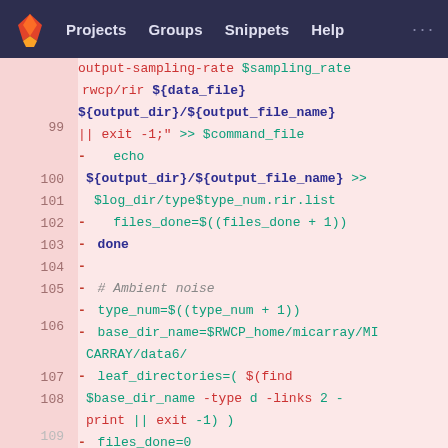Projects  Groups  Snippets  Help  ...
[Figure (screenshot): GitLab code viewer showing a shell script diff, lines 99-109, with syntax highlighting on a pink background. Lines show bash commands for audio processing including echo, files_done, done, type_num, base_dir_name, leaf_directories, files_done, total_files, and echo.]